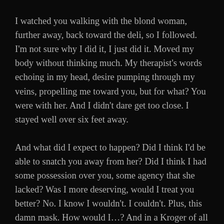I watched you walking with the blond woman, further away, back toward the deli, so I followed. I'm not sure why I did it, I just did it. Moved my body without thinking much. My therapist's words echoing in my head, desire pumping through my veins, propelling me toward you, but for what? You were with her. And I didn't dare get too close. I stayed well over six feet away.
And what did I expect to happen? Did I think I'd be able to snatch you away from her? Did I think I had some possession over you, some agency that she lacked? Was I more deserving, would I treat you better? No. I know I wouldn't. I couldn't. Plus, this damn mask. How would I…? And in a Kroger of all places.
So there we were. So close, yet so far away. I'm sorry I